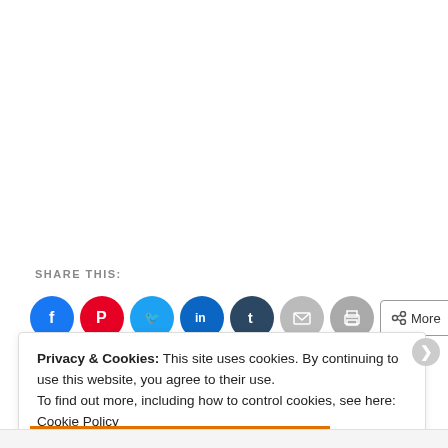SHARE THIS:
[Figure (infographic): Row of social sharing buttons: Facebook (blue circle), Pinterest (red circle), Twitter (light blue circle), LinkedIn (blue circle), Tumblr (dark blue circle), Email (gray circle), Print (gray circle), and a More button with share icon]
Privacy & Cookies: This site uses cookies. By continuing to use this website, you agree to their use.
To find out more, including how to control cookies, see here:
Cookie Policy
Close and accept